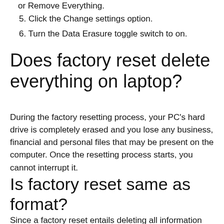or Remove Everything.
5. Click the Change settings option.
6. Turn the Data Erasure toggle switch to on.
Does factory reset delete everything on laptop?
During the factory resetting process, your PC's hard drive is completely erased and you lose any business, financial and personal files that may be present on the computer. Once the resetting process starts, you cannot interrupt it.
Is factory reset same as format?
Since a factory reset entails deleting all information stored in the device, it is essentially the same concept as reformatting a hard drive. Pre-installed applications and data on the card's storage card (such as a microSD card) will not